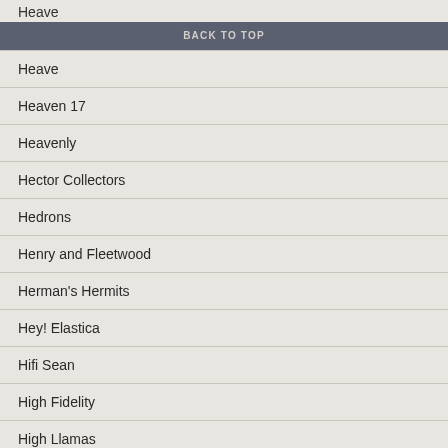Heave
BACK TO TOP
Heave
Heaven 17
Heavenly
Hector Collectors
Hedrons
Henry and Fleetwood
Herman's Hermits
Hey! Elastica
Hifi Sean
High Fidelity
High Llamas
Higsons
Hinds